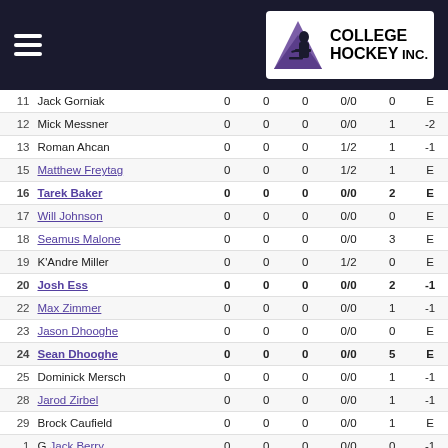College Hockey Inc.
| # | Name | G | A | P | FO | PIM | +/- |
| --- | --- | --- | --- | --- | --- | --- | --- |
| 11 | Jack Gorniak | 0 | 0 | 0 | 0/0 | 0 | E |
| 12 | Mick Messner | 0 | 0 | 0 | 0/0 | 1 | -2 |
| 13 | Roman Ahcan | 0 | 0 | 0 | 1/2 | 1 | -1 |
| 15 | Matthew Freytag | 0 | 0 | 0 | 1/2 | 1 | E |
| 16 | Tarek Baker | 0 | 0 | 0 | 0/0 | 2 | E |
| 17 | Will Johnson | 0 | 0 | 0 | 0/0 | 0 | E |
| 18 | Seamus Malone | 0 | 0 | 0 | 0/0 | 3 | E |
| 19 | K'Andre Miller | 0 | 0 | 0 | 1/2 | 0 | E |
| 20 | Josh Ess | 0 | 0 | 0 | 0/0 | 2 | -1 |
| 22 | Max Zimmer | 0 | 0 | 0 | 0/0 | 1 | -1 |
| 23 | Jason Dhooghe | 0 | 0 | 0 | 0/0 | 0 | E |
| 24 | Sean Dhooghe | 0 | 0 | 0 | 0/0 | 5 | E |
| 25 | Dominick Mersch | 0 | 0 | 0 | 0/0 | 1 | -1 |
| 28 | Jarod Zirbel | 0 | 0 | 0 | 0/0 | 1 | -1 |
| 29 | Brock Caufield | 0 | 0 | 0 | 0/0 | 1 | E |
| 1 | G Jack Berry | 0 | 0 | 0 | 0/0 | 0 | -1 |
| 32 | G Daniel Lebedeff | 0 | 0 | 0 | 0/0 | 0 | -1 |
| 35 | G Johan Blomquist |  |  |  | Did Not Play |  |  |
| Wisconsin Totals |  | 0 | 0 | 0 | 6/20 | 32 | -2 |